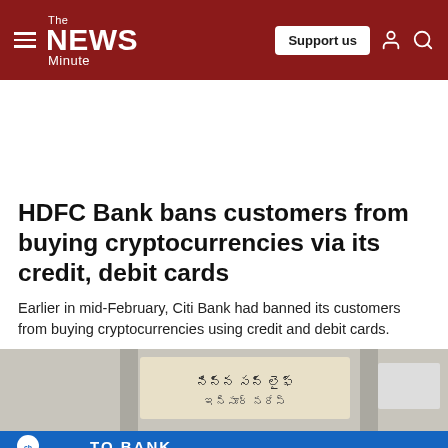The News Minute — Support us
HDFC Bank bans customers from buying cryptocurrencies via its credit, debit cards
Earlier in mid-February, Citi Bank had banned its customers from buying cryptocurrencies using credit and debit cards.
[Figure (photo): Photo of an HDFC Bank branch sign, with Telugu script visible on a banner, and a blue HDFC Bank sign at the bottom.]